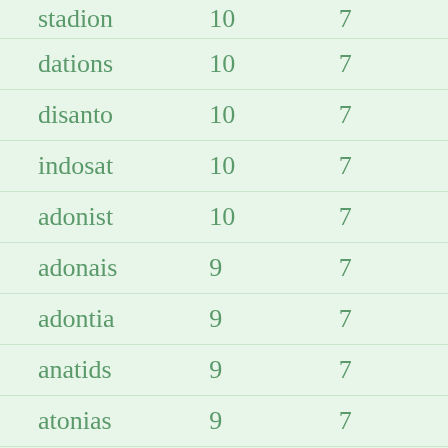| stadion | 10 | 7 |
| dations | 10 | 7 |
| disanto | 10 | 7 |
| indosat | 10 | 7 |
| adonist | 10 | 7 |
| adonais | 9 | 7 |
| adontia | 9 | 7 |
| anatids | 9 | 7 |
| atonias | 9 | 7 |
| daotais | 9 | 7 |